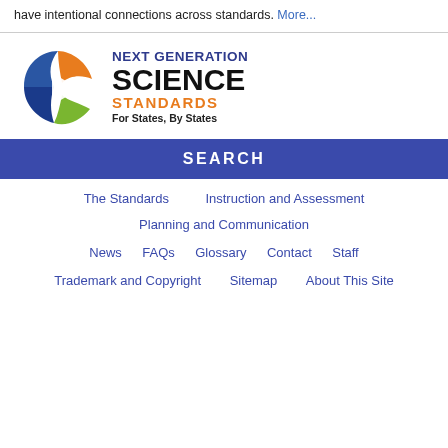have intentional connections across standards. More...
[Figure (logo): Next Generation Science Standards logo — a stylized 3D arrow/ribbon shape in blue, orange, and green, with text 'NEXT GENERATION SCIENCE STANDARDS For States, By States']
SEARCH
The Standards    Instruction and Assessment
Planning and Communication
News    FAQs    Glossary    Contact    Staff
Trademark and Copyright    Sitemap    About This Site